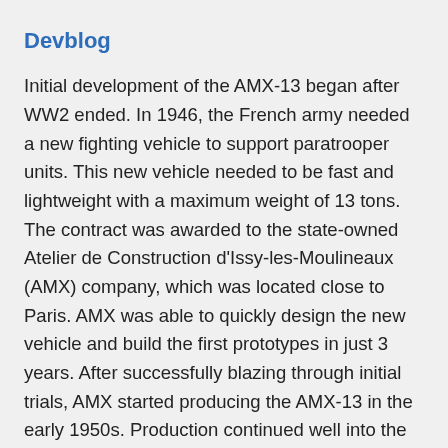Devblog
Initial development of the AMX-13 began after WW2 ended. In 1946, the French army needed a new fighting vehicle to support paratrooper units. This new vehicle needed to be fast and lightweight with a maximum weight of 13 tons. The contract was awarded to the state-owned Atelier de Construction d'Issy-les-Moulineaux (AMX) company, which was located close to Paris. AMX was able to quickly design the new vehicle and build the first prototypes in just 3 years. After successfully blazing through initial trials, AMX started producing the AMX-13 in the early 1950s. Production continued well into the 1980s as the aging AMX-13 was continually modernized, modified, and upgraded. The AMX-13 SS.11 is a modernized version